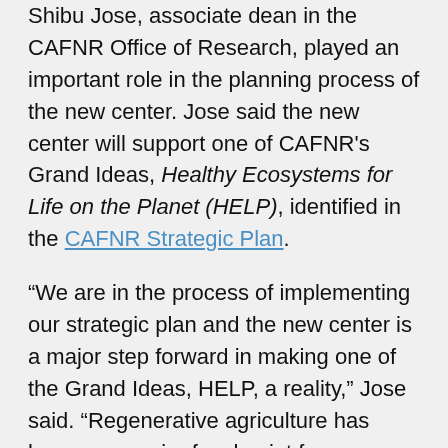Shibu Jose, associate dean in the CAFNR Office of Research, played an important role in the planning process of the new center. Jose said the new center will support one of CAFNR's Grand Ideas, Healthy Ecosystems for Life on the Planet (HELP), identified in the CAFNR Strategic Plan.
“We are in the process of implementing our strategic plan and the new center is a major step forward in making one of the Grand Ideas, HELP, a reality,” Jose said. “Regenerative agriculture has become a major focal point for many people working in agriculture, including major food and agriculture companies. For example, Cargill recently announced a national goal of having 10 million acres of U.S. farmland using regenerative agriculture practices by 2030. Major food companies such as General Mills and Walmart Inc. have also been supporting regenerative agriculture as a priority for their efforts to address